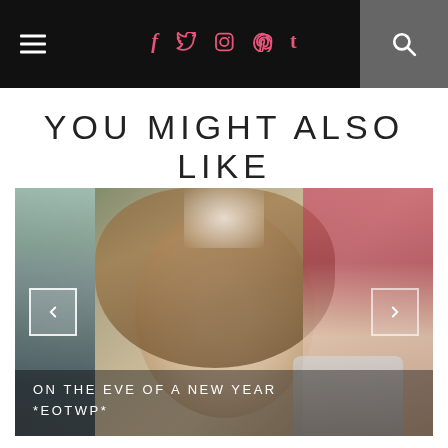Navigation bar with hamburger menu, social icons (f, twitter, instagram, pinterest, t), and search button
YOU MIGHT ALSO LIKE
[Figure (photo): Woman taking a bathroom selfie, smiling, with brown hair, wearing a red top. Left and right navigation arrows overlay the image. Bathroom shelves with products visible in background.]
ON THE EVE OF A NEW YEAR *EOTWP*